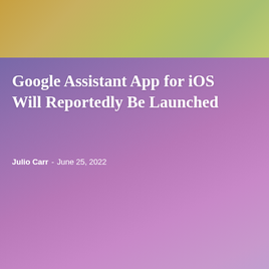[Figure (illustration): Gradient banner image at top of page with warm yellow-green tones]
Google Assistant App for iOS Will Reportedly Be Launched
Julio Carr  -  June 25, 2022
OPARATING SYSTEM
Home › Computer › Oparating system